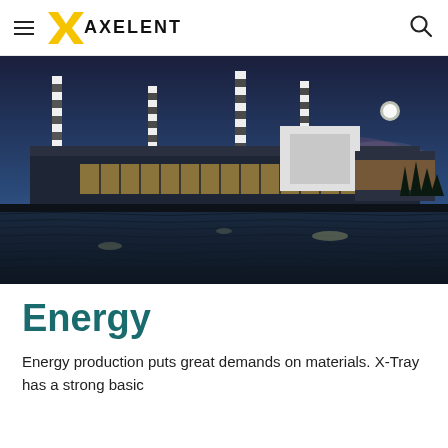AXELENT
[Figure (photo): Industrial energy facility / power plant photographed at dusk with tall striped chimneys and large industrial buildings reflected in a water body in the foreground, under a deep blue twilight sky.]
Energy
Energy production puts great demands on materials. X-Tray has a strong basic